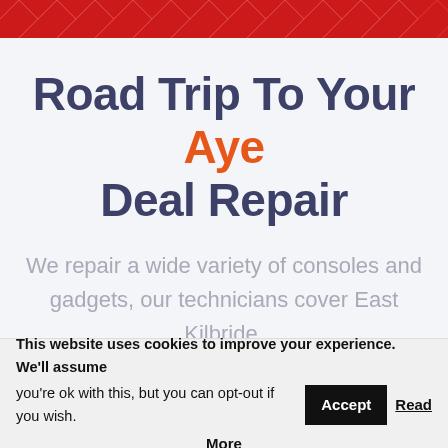[Figure (other): Red decorative banner header with diamond/chevron pattern overlay]
Road Trip To Your Aye Deal Repair
We repair a wide variety of consoles and gadgets, our technicians cover East Kilbride, Hamilton, Glasgow, East Renfrewshire and the surrounding areas. Our convenient
This website uses cookies to improve your experience. We'll assume you're ok with this, but you can opt-out if you wish. Accept Read More